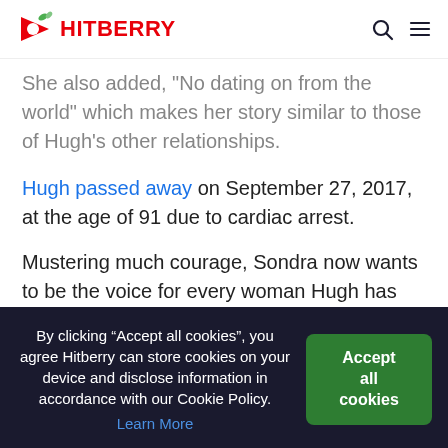HITBERRY
She also added, "No dating on from the world" which makes her story similar to those of Hugh's other relationships.
Hugh passed away on September 27, 2017, at the age of 91 due to cardiac arrest.
Mustering much courage, Sondra now wants to be the voice for every woman Hugh has supposedly wronged,
By clicking “Accept all cookies”, you agree Hitberry can store cookies on your device and disclose information in accordance with our Cookie Policy. Learn More